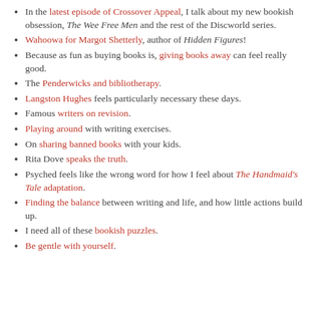In the latest episode of Crossover Appeal, I talk about my new bookish obsession, The Wee Free Men and the rest of the Discworld series.
Wahoowa for Margot Shetterly, author of Hidden Figures!
Because as fun as buying books is, giving books away can feel really good.
The Penderwicks and bibliotherapy.
Langston Hughes feels particularly necessary these days.
Famous writers on revision.
Playing around with writing exercises.
On sharing banned books with your kids.
Rita Dove speaks the truth.
Psyched feels like the wrong word for how I feel about The Handmaid's Tale adaptation.
Finding the balance between writing and life, and how little actions build up.
I need all of these bookish puzzles.
Be gentle with yourself.